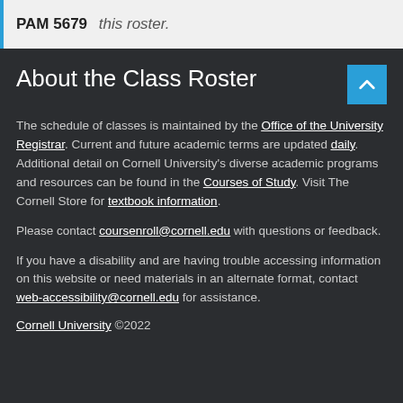PAM 5679  this roster.
About the Class Roster
The schedule of classes is maintained by the Office of the University Registrar. Current and future academic terms are updated daily. Additional detail on Cornell University's diverse academic programs and resources can be found in the Courses of Study. Visit The Cornell Store for textbook information.
Please contact coursenroll@cornell.edu with questions or feedback.
If you have a disability and are having trouble accessing information on this website or need materials in an alternate format, contact web-accessibility@cornell.edu for assistance.
Cornell University ©2022